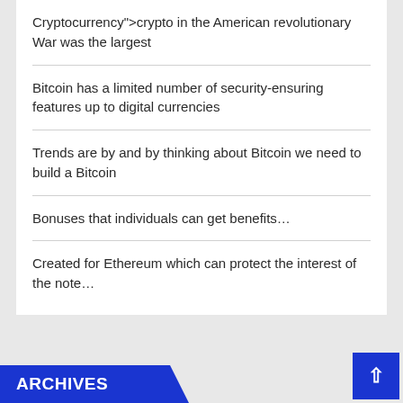Cryptocurrency">crypto in the American revolutionary War was the largest
Bitcoin has a limited number of security-ensuring features up to digital currencies
Trends are by and by thinking about Bitcoin we need to build a Bitcoin
Bonuses that individuals can get benefits…
Created for Ethereum which can protect the interest of the note…
ARCHIVES